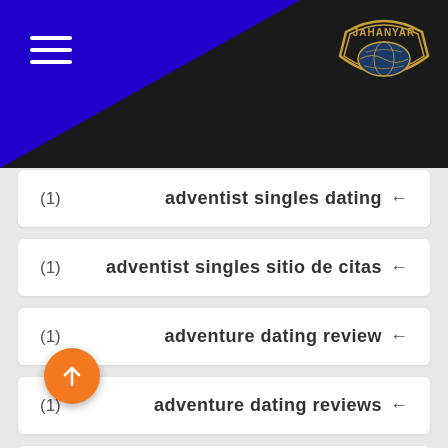[Figure (logo): Jahanyar brand logo badge in gold on dark background, with hamburger menu icon on left and blue diagonal triangle]
(1)   adventist singles dating ←
(1)   adventist singles sitio de citas ←
(1)   adventure dating review ←
(1)   adventure dating reviews ←
(1)   african dating review ←